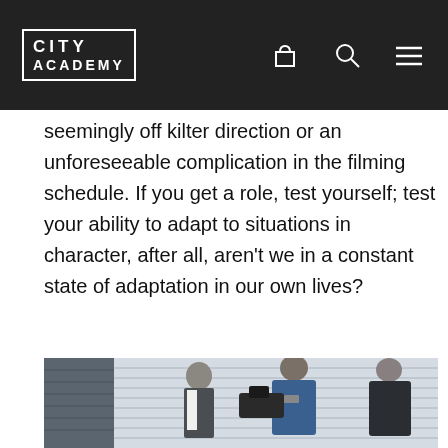CITY ACADEMY
seemingly off kilter direction or an unforeseeable complication in the filming schedule. If you get a role, test yourself; test your ability to adapt to situations in character, after all, aren't we in a constant state of adaptation in our own lives?
[Figure (photo): Outdoor scene with people filming. A person in a blue jacket holds a camera pointed at a man in a suit near a white-sided building with a window visible on the left.]